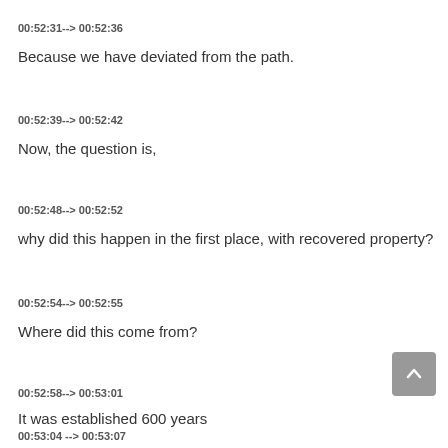00:52:31--> 00:52:36
Because we have deviated from the path.
00:52:39--> 00:52:42
Now, the question is,
00:52:48--> 00:52:52
why did this happen in the first place, with recovered property?
00:52:54--> 00:52:55
Where did this come from?
00:52:58--> 00:53:01
It was established 600 years
00:53:04 --> 00:53:07